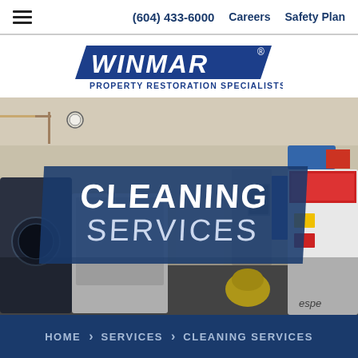(604) 433-6000  Careers  Safety Plan
[Figure (logo): WINMAR Property Restoration Specialists logo — blue parallelogram with white italic bold text WINMAR and registered trademark symbol, below in blue text PROPERTY RESTORATION SPECIALISTS]
[Figure (photo): Interior of an industrial laundry/cleaning facility with large washing machines, equipment, and a yellow bag on the floor. Blue overlay banner with text CLEANING SERVICES.]
CLEANING SERVICES
HOME > SERVICES > CLEANING SERVICES